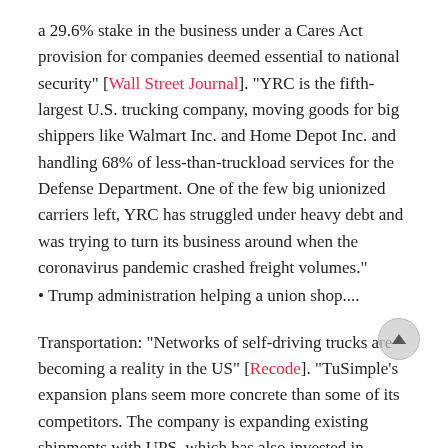a 29.6% stake in the business under a Cares Act provision for companies deemed essential to national security" [Wall Street Journal]. "YRC is the fifth-largest U.S. trucking company, moving goods for big shippers like Walmart Inc. and Home Depot Inc. and handling 68% of less-than-truckload services for the Defense Department. One of the few big unionized carriers left, YRC has struggled under heavy debt and was trying to turn its business around when the coronavirus pandemic crashed freight volumes."
• Trump administration helping a union shop....
Transportation: "Networks of self-driving trucks are becoming a reality in the US" [Recode]. "TuSimple's expansion plans seem more concrete than some of its competitors. The company is expanding existing shipments with UPS, which has also invested in TuSimple, and the foodservice delivery giant McLane. The major shipping company US Xpress, one of the nation's largest freight companies, will also start shipping goods through TuSimple, which now has 22 contracted customers. Those companies will ultimately have influence over which routes are digitally mapped out next for self-